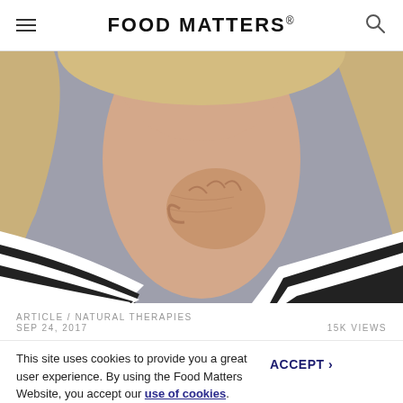FOOD MATTERS®
[Figure (photo): Close-up of a blonde woman touching her neck/throat area, wearing a black and white striped shirt, against a gray background.]
ARTICLE / NATURAL THERAPIES
SEP 24, 2017    15K VIEWS
This site uses cookies to provide you a great user experience. By using the Food Matters Website, you accept our use of cookies.
Thyroid Management Tips That Can Change Your Life!